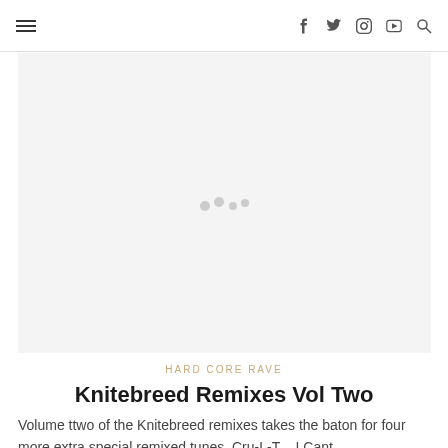≡  f  twitter  instagram  youtube  search
[Figure (photo): Light grey placeholder image area with a loading spinner (3 grey dots) in the center]
HARD CORE RAVE
Knitebreed Remixes Vol Two
Volume ttwo of the Knitebreed remixes takes the baton for four more extra special remixed tunes. Cru-L-T – I Cant